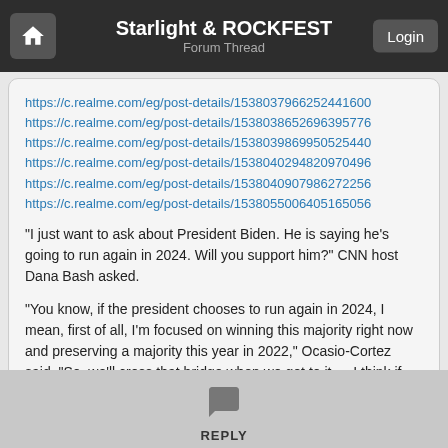Starlight & ROCKFEST
Forum Thread
https://c.realme.com/eg/post-details/1538037966252441600
https://c.realme.com/eg/post-details/1538038652696395776
https://c.realme.com/eg/post-details/1538039869950525440
https://c.realme.com/eg/post-details/1538040294820970496
https://c.realme.com/eg/post-details/1538040907986272256
https://c.realme.com/eg/post-details/1538055006405165056
"I just want to ask about President Biden. He is saying he's going to run again in 2024. Will you support him?" CNN host Dana Bash asked.
"You know, if the president chooses to run again in 2024, I mean, first of all, I'm focused on winning this majority right now and preserving a majority this year in 2022," Ocasio-Cortez said. "So, we'll cross that bridge when we get to it … I think if the president has a vision and that's something certainly we're all willing to entertain and examine when the time comes."
REPLY